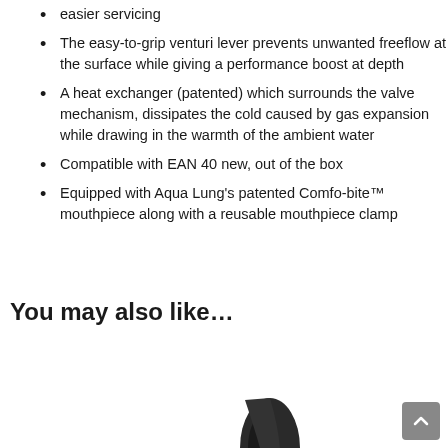easier servicing
The easy-to-grip venturi lever prevents unwanted freeflow at the surface while giving a performance boost at depth
A heat exchanger (patented) which surrounds the valve mechanism, dissipates the cold caused by gas expansion while drawing in the warmth of the ambient water
Compatible with EAN 40 new, out of the box
Equipped with Aqua Lung's patented Comfo-bite™ mouthpiece along with a reusable mouthpiece clamp
You may also like…
[Figure (photo): Partial view of a dark-colored diving product/mouthpiece at the bottom center of the page]